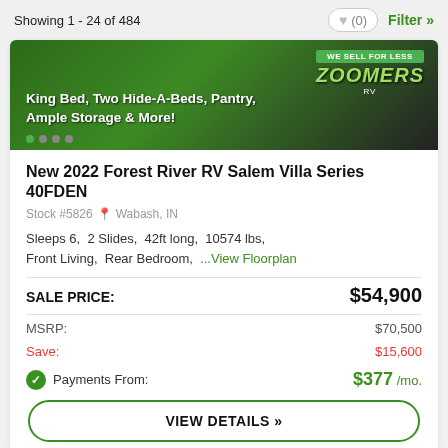Showing 1 - 24 of 484
[Figure (photo): RV dealer advertisement image showing 'King Bed, Two Hide-A-Beds, Pantry, Ample Storage & More!' with Zoomers RV 'We Sell For Less' branding on a dark background]
New 2022 Forest River RV Salem Villa Series 40FDEN
Stock #5826  Wabash, IN
Sleeps 6,  2 Slides,  42ft long,  10574 lbs,  Front Living,  Rear Bedroom,  ...View Floorplan
| Label | Price |
| --- | --- |
| SALE PRICE: | $54,900 |
| MSRP: | $70,500 |
| Save: | $15,600 |
| Payments From: | $377 /mo. |
VIEW DETAILS »